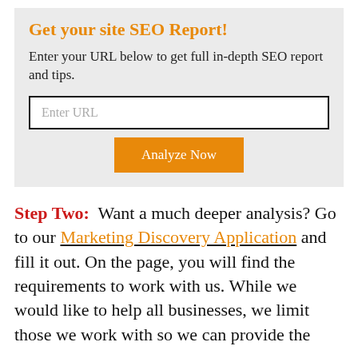Get your site SEO Report!
Enter your URL below to get full in-depth SEO report and tips.
Enter URL
Analyze Now
Step Two:  Want a much deeper analysis? Go to our Marketing Discovery Application and fill it out. On the page, you will find the requirements to work with us. While we would like to help all businesses, we limit those we work with so we can provide the